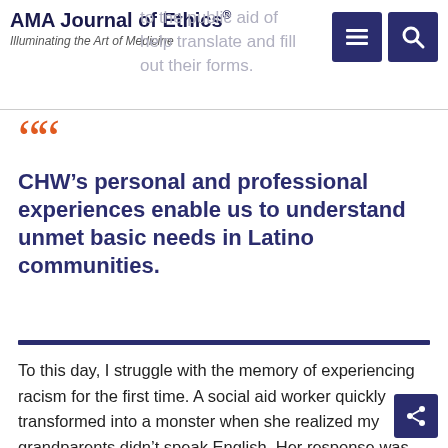AMA Journal of Ethics® Illuminating the Art of Medicine
to the public aid of
help translate and fill out their forms.
““
CHW’s personal and professional experiences enable us to understand unmet basic needs in Latino communities.
To this day, I struggle with the memory of experiencing racism for the first time. A social aid worker quickly transformed into a monster when she realized my grandparents didn’t speak English. Her response was hurtful. Clearly annoyed, she snapped, “You should know the language, we are supporting your